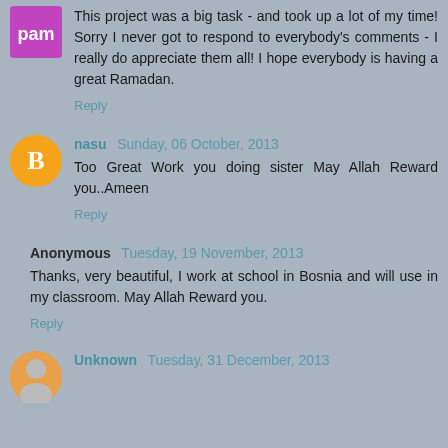This project was a big task - and took up a lot of my time! Sorry I never got to respond to everybody's comments - I really do appreciate them all! I hope everybody is having a great Ramadan.
Reply
nasu  Sunday, 06 October, 2013
Too Great Work you doing sister May Allah Reward you..Ameen
Reply
Anonymous  Tuesday, 19 November, 2013
Thanks, very beautiful, I work at school in Bosnia and will use in my classroom. May Allah Reward you.
Reply
Unknown  Tuesday, 31 December, 2013